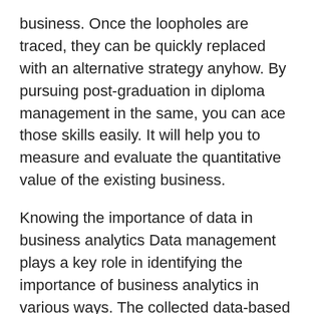business. Once the loopholes are traced, they can be quickly replaced with an alternative strategy anyhow. By pursuing post-graduation in diploma management in the same, you can ace those skills easily. It will help you to measure and evaluate the quantitative value of the existing business.
Knowing the importance of data in business analytics Data management plays a key role in identifying the importance of business analytics in various ways. The collected data-based information assists you in taking decisions needed for drafting final conclusions. By studying business analytics in management, you can always enhance your knowledge on business data-driven analysis for drafting alternate strategies to empower existing business operations. That's another leverage of studying business analytics in the PGDM program.
Fitting in the job role of business/finance analytical expert